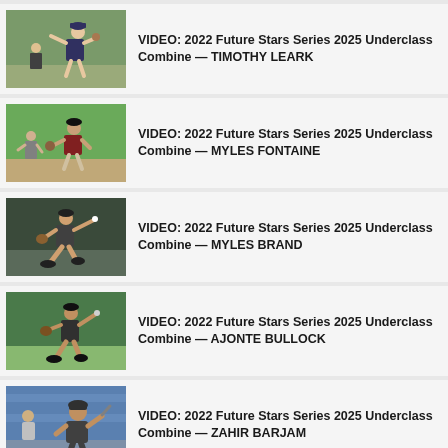VIDEO: 2022 Future Stars Series 2025 Underclass Combine — TIMOTHY LEARK
VIDEO: 2022 Future Stars Series 2025 Underclass Combine — MYLES FONTAINE
VIDEO: 2022 Future Stars Series 2025 Underclass Combine — MYLES BRAND
VIDEO: 2022 Future Stars Series 2025 Underclass Combine — AJONTE BULLOCK
VIDEO: 2022 Future Stars Series 2025 Underclass Combine — ZAHIR BARJAM